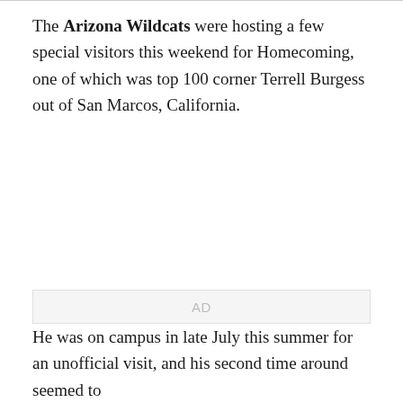The Arizona Wildcats were hosting a few special visitors this weekend for Homecoming, one of which was top 100 corner Terrell Burgess out of San Marcos, California.
[Figure (other): Advertisement placeholder box with 'AD' label centered]
He was on campus in late July this summer for an unofficial visit, and his second time around seemed to